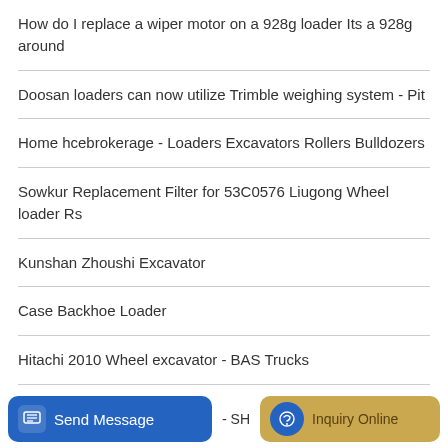How do I replace a wiper motor on a 928g loader Its a 928g around
Doosan loaders can now utilize Trimble weighing system - Pit
Home hcebrokerage - Loaders Excavators Rollers Bulldozers
Sowkur Replacement Filter for 53C0576 Liugong Wheel loader Rs
Kunshan Zhoushi Excavator
Case Backhoe Loader
Hitachi 2010 Wheel excavator - BAS Trucks
Send Message  - SH  Inquiry Online